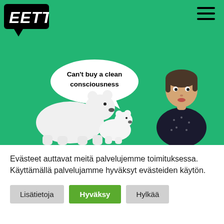[Figure (screenshot): EETTI organization website screenshot showing a green header with EETTI logo (black speech bubble with white text), hamburger menu icon, two white polar bears and a woman with dark hair on a green background, a speech bubble saying 'Can't buy a clean consciousness', and a cookie consent bar at the bottom with Finnish text and three buttons: Lisätietoja, Hyväksy, Hylkää]
Evästeet auttavat meitä palvelujemme toimituksessa. Käyttämällä palvelujamme hyväksyt evästeiden käytön.
Lisätietoja
Hyväksy
Hylkää